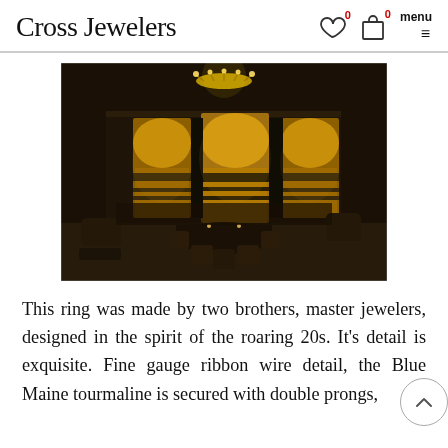Cross Jewelers
[Figure (photo): Elegant dark interior of an upscale lounge/bar with golden arched wall panels, a chandelier, round tables with leather chairs, and moody warm lighting reminiscent of 1920s Art Deco style.]
This ring was made by two brothers, master jewelers, designed in the spirit of the roaring 20s. It's detail is exquisite. Fine gauge ribbon wire detail, the Blue Maine tourmaline is secured with double prongs,